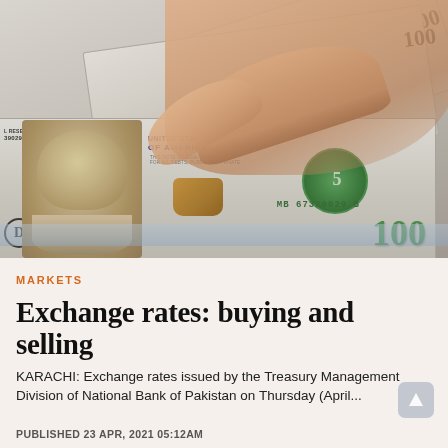[Figure (photo): A hand holding and fanning out multiple US $100 dollar bills, showing Benjamin Franklin's portrait, serial number MB67329029B, green security seal, and '100' denominations prominently]
MARKETS
Exchange rates: buying and selling
KARACHI: Exchange rates issued by the Treasury Management Division of National Bank of Pakistan on Thursday (April...
PUBLISHED 23 APR, 2021 05:12AM